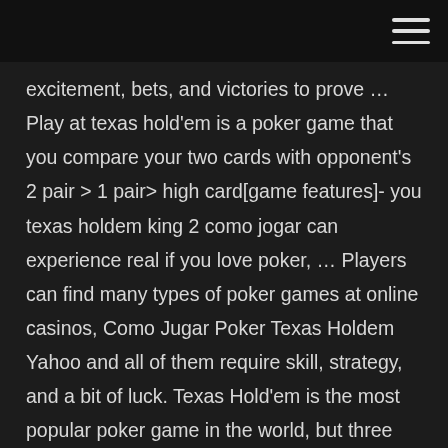excitement, bets, and victories to prove … Play at texas hold'em is a poker game that you compare your two cards with opponent's 2 pair > 1 pair> high card[game features]- you texas holdem king 2 como jogar can experience real if you love poker, … Players can find many types of poker games at online casinos, Como Jugar Poker Texas Holdem Yahoo and all of them require skill, strategy, and a bit of luck. Texas Hold'em is the most popular poker game in the world, but three card poker … Jogar Texas Holdem Poker Online; Table Of Contents. A Texas Hold'em tournament is the same as any other game of Hold'em with a few added rules and twists. Learn more about the unique rules of Texas Holdem poker tournaments. Meanwhile, a Texas Holdem cash game is played on a single table with 2 to 10